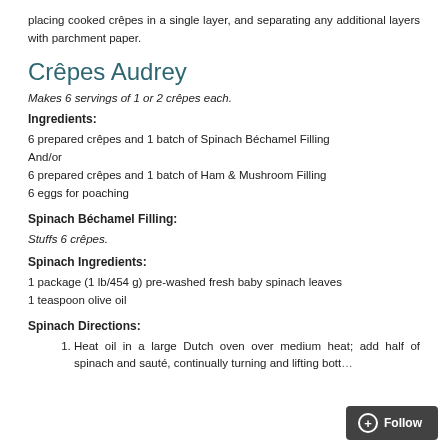placing cooked crêpes in a single layer, and separating any additional layers with parchment paper.
Crêpes Audrey
Makes 6 servings of 1 or 2 crêpes each.
Ingredients:
6 prepared crêpes and 1 batch of Spinach Béchamel Filling
And/or
6 prepared crêpes and 1 batch of Ham & Mushroom Filling
6 eggs for poaching
Spinach Béchamel Filling:
Stuffs 6 crêpes.
Spinach Ingredients:
1 package (1 lb/454 g) pre-washed fresh baby spinach leaves
1 teaspoon olive oil
Spinach Directions:
Heat oil in a large Dutch oven over medium heat; add half of spinach and sauté, continually turning and lifting bottom leaves to top, until volume reduces and there is ro…